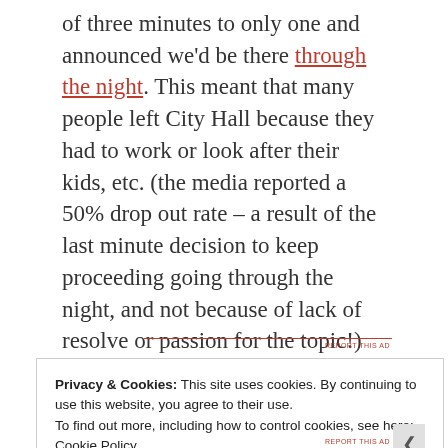of three minutes to only one and announced we'd be there through the night. This meant that many people left City Hall because they had to work or look after their kids, etc. (the media reported a 50% drop out rate – a result of the last minute decision to keep proceeding going through the night, and not because of lack of resolve or passion for the topic!) Those of us who stubbornly stayed through the night bonded in our conviction to see this mini-protest through.
Privacy & Cookies: This site uses cookies. By continuing to use this website, you agree to their use. To find out more, including how to control cookies, see here: Cookie Policy
Close and accept